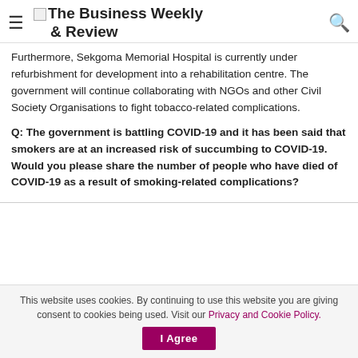The Business Weekly & Review
Furthermore, Sekgoma Memorial Hospital is currently under refurbishment for development into a rehabilitation centre. The government will continue collaborating with NGOs and other Civil Society Organisations to fight tobacco-related complications.
Q: The government is battling COVID-19 and it has been said that smokers are at an increased risk of succumbing to COVID-19. Would you please share the number of people who have died of COVID-19 as a result of smoking-related complications?
This website uses cookies. By continuing to use this website you are giving consent to cookies being used. Visit our Privacy and Cookie Policy. I Agree